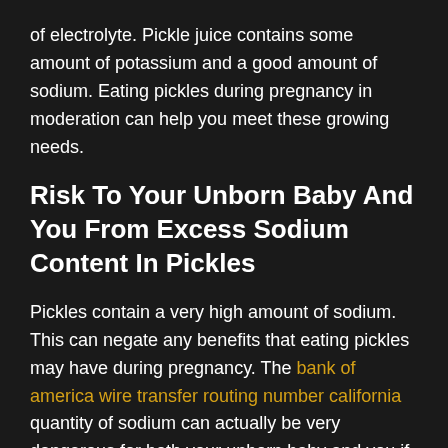of electrolyte. Pickle juice contains some amount of potassium and a good amount of sodium. Eating pickles during pregnancy in moderation can help you meet these growing needs.
Risk To Your Unborn Baby And You From Excess Sodium Content In Pickles
Pickles contain a very high amount of sodium. This can negate any benefits that eating pickles may have during pregnancy. The bank of america wire transfer routing number california quantity of sodium can actually be very dangerous for both your unborn baby and you if taken regularly over a period of time.
When you eat too much sodium it can make you feel dehydrated. An overdose of sodium can also lead to high